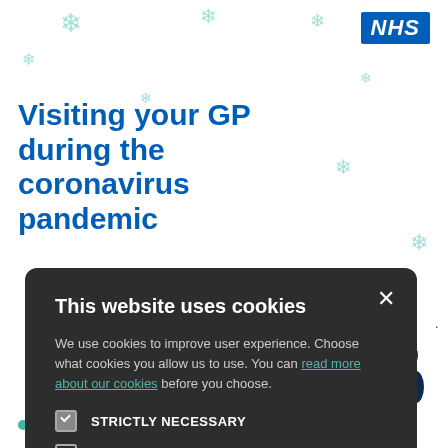[Figure (screenshot): NHS webpage screenshot showing 'Visiting your GP during the coronavirus pandemic' with a cookie consent modal overlay. The modal has a dark background and contains cookie preference options (Strictly Necessary, Performance, Targeting, Functionality) and Accept All / Decline All buttons. The NHS logo appears top right. Teal snowflake decorations visible in background. A healthcare worker illustration is partially visible bottom right.]
Visiting your GP during the coronavirus pandemic
This website uses cookies
We use cookies to improve user experience. Choose what cookies you allow us to use. You can read more about our cookies before you choose.
STRICTLY NECESSARY
PERFORMANCE
TARGETING
FUNCTIONALITY
ACCEPT ALL
DECLINE ALL
patients must wear a face mask.